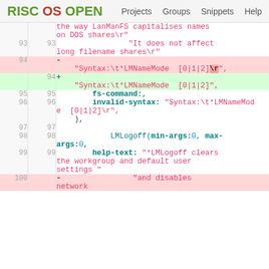RISC OS OPEN  Projects  Groups  Snippets  Help
| old_ln | new_ln | code |
| --- | --- | --- |
|  |  | the way LanManFS capitalises names on DOS shares\r" |
| 93 | 93 | "It does not affect long filename shares\r" |
| 94 |  | - "Syntax:\t*LMNameMode  [0|1|2]\r", |
|  | 94 | + "Syntax:\t*LMNameMode  [0|1|2]", |
| 95 | 95 | fs-command:, |
| 96 | 96 | invalid-syntax: "Syntax:\t*LMNameMode  [0|1|2]\r", ), |
| 97 | 97 |  |
| 98 | 98 | LMLogoff(min-args:0, max-args:0, |
| 99 | 99 | help-text: "*LMLogoff clears the workgroup and default user settings " |
| 100 |  | - "and disables network |